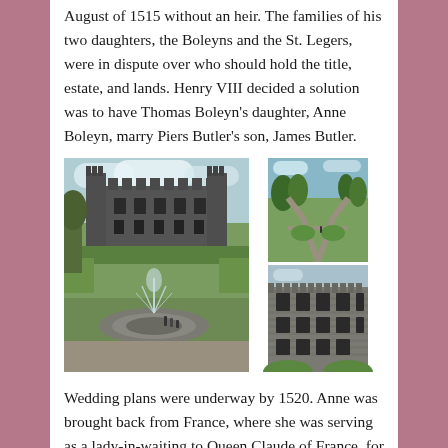August of 1515 without an heir. The families of his two daughters, the Boleyns and the St. Legers, were in dispute over who should hold the title, estate, and lands. Henry VIII decided a solution was to have Thomas Boleyn's daughter, Anne Boleyn, marry Piers Butler's son, James Butler.
[Figure (photo): Three photographs of Kilkenny Castle and its gardens. Large photo on the left shows the castle facade with a fountain in the foreground garden. Top right photo shows the formal gardens with pathways. Bottom right photo shows a close-up of the castle exterior.]
Wedding plans were underway by 1520. Anne was brought back from France, where she was serving as a lady-in-waiting to Queen Claude of France, for the